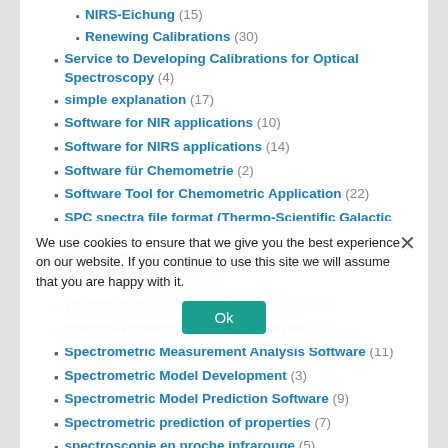NIRS-Eichung (15)
Renewing Calibrations (30)
Service to Developing Calibrations for Optical Spectroscopy (4)
simple explanation (17)
Software for NIR applications (10)
Software for NIRS applications (14)
Software für Chemometrie (2)
Software Tool for Chemometric Application (22)
SPC spectra file format (Thermo-Scientific Galactic GRAMS) (12)
Spectra Plot Thumbnail (1)
Spectral File Formats (3)
spectral prediction modeling software (10)
Spectral Radiometer analysis software (1)
Spectrometric Measurement Analysis Software (11)
Spectrometric Model Development (3)
Spectrometric Model Prediction Software (9)
Spectrometric prediction of properties (7)
spectroscopie en proche infrarouge (5)
Spectroscopy (76)
Near Infra Red (NIR) (?)
NIR method development (44)
NIR method maintenance (44)
Near-IR Spectroscopy (NIRS) (31)
We use cookies to ensure that we give you the best experience on our website. If you continue to use this site we will assume that you are happy with it.